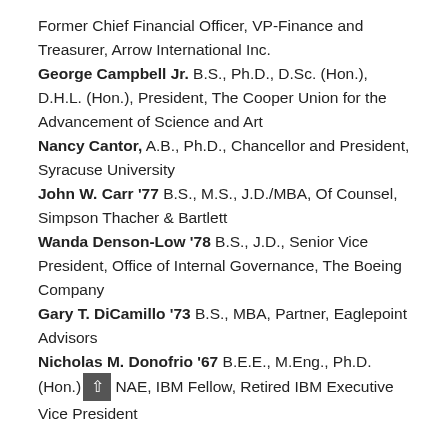Former Chief Financial Officer, VP-Finance and Treasurer, Arrow International Inc.
George Campbell Jr. B.S., Ph.D., D.Sc. (Hon.), D.H.L. (Hon.), President, The Cooper Union for the Advancement of Science and Art
Nancy Cantor, A.B., Ph.D., Chancellor and President, Syracuse University
John W. Carr '77 B.S., M.S., J.D./MBA, Of Counsel, Simpson Thacher & Bartlett
Wanda Denson-Low '78 B.S., J.D., Senior Vice President, Office of Internal Governance, The Boeing Company
Gary T. DiCamillo '73 B.S., MBA, Partner, Eaglepoint Advisors
Nicholas M. Donofrio '67 B.E.E., M.Eng., Ph.D. (Hon.), NAE, IBM Fellow, Retired IBM Executive Vice President